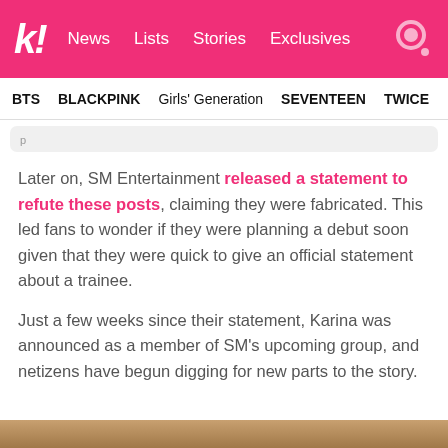k! News Lists Stories Exclusives
BTS BLACKPINK Girls' Generation SEVENTEEN TWICE
Later on, SM Entertainment released a statement to refute these posts, claiming they were fabricated. This led fans to wonder if they were planning a debut soon given that they were quick to give an official statement about a trainee.
Just a few weeks since their statement, Karina was announced as a member of SM's upcoming group, and netizens have begun digging for new parts to the story.
[Figure (photo): Bottom portion of a photo visible at the bottom edge of the page]